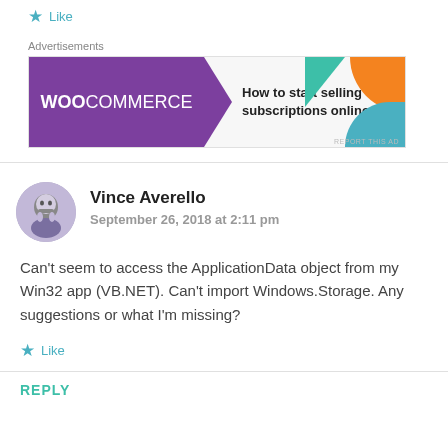Like
[Figure (screenshot): WooCommerce advertisement banner: purple background with WooCommerce logo on left, teal arrow chevron, and text 'How to start selling subscriptions online' with colorful decorative shapes]
Vince Averello
September 26, 2018 at 2:11 pm
Can't seem to access the ApplicationData object from my Win32 app (VB.NET). Can't import Windows.Storage. Any suggestions or what I'm missing?
Like
REPLY